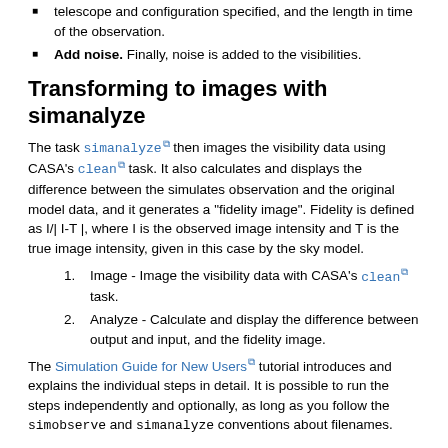telescope and configuration specified, and the length in time of the observation.
Add noise. Finally, noise is added to the visibilities.
Transforming to images with simanalyze
The task simanalyze then images the visibility data using CASA's clean task. It also calculates and displays the difference between the simulates observation and the original model data, and it generates a "fidelity image". Fidelity is defined as I/| I-T |, where I is the observed image intensity and T is the true image intensity, given in this case by the sky model.
Image - Image the visibility data with CASA's clean task.
Analyze - Calculate and display the difference between output and input, and the fidelity image.
The Simulation Guide for New Users tutorial introduces and explains the individual steps in detail. It is possible to run the steps independently and optionally, as long as you follow the simobserve and simanalyze conventions about filenames.
Taskname History
The simulation tasks have been under significant revision and development.
In CASA 3.3 simobserve and simanalyze were named
sim_observe and sim_analyze, respectively.